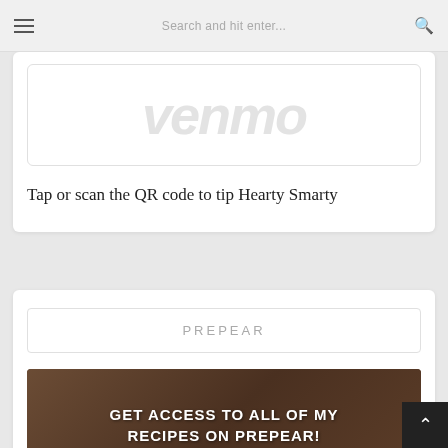Search and hit enter...
[Figure (logo): Venmo logo in large italic gray text]
Tap or scan the QR code to tip Hearty Smarty
[Figure (logo): PREPEAR label in a bordered box]
[Figure (photo): Prepear promotional banner with text: GET ACCESS TO ALL OF MY RECIPES ON PREPEAR! with food bowls and phone mockup on wooden background]